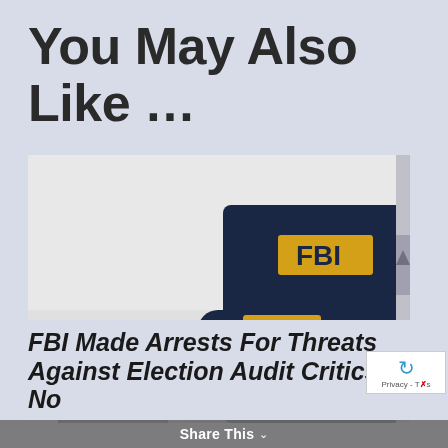You May Also Like …
[Figure (photo): Person wearing a dark navy blue FBI jacket sitting at a desk typing on a laptop computer. A teal coffee mug and a tablet device are visible on the desk. The jacket shows 'FBI' in large yellow letters on the sleeve and back.]
FBI Made Arrests For Threats Against Election Audit Critics, No
Share This